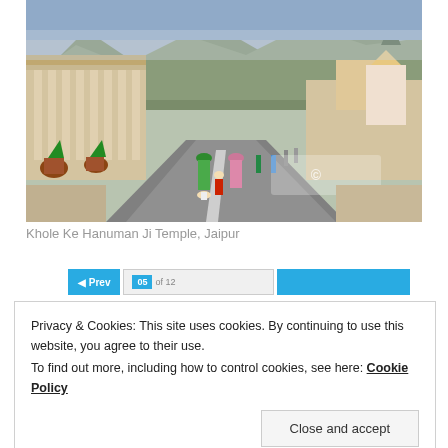[Figure (photo): A road leading through what appears to be a temple complex or park area in Jaipur, India. People in traditional Indian attire walking along the road. Colonnaded structures visible on the left side, hills/mountains in the background. A small child in red walks with adults. Potted plants line the walkway.]
Khole Ke Hanuman Ji Temple, Jaipur
Privacy & Cookies: This site uses cookies. By continuing to use this website, you agree to their use.
To find out more, including how to control cookies, see here: Cookie Policy